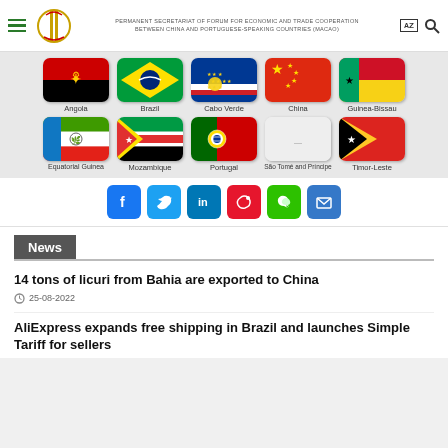Permanent Secretariat of Forum for Economic and Trade Cooperation between China and Portuguese-speaking Countries (Macao)
[Figure (illustration): Country flag icons grid: Angola, Brazil, Cabo Verde, China, Guinea-Bissau (row 1); Equatorial Guinea, Mozambique, Portugal, São Tomé and Príncipe, Timor-Leste (row 2)]
[Figure (infographic): Social media icons: Facebook, Twitter, LinkedIn, Weibo, WeChat, Email]
News
14 tons of licuri from Bahia are exported to China
25-08-2022
AliExpress expands free shipping in Brazil and launches Simple Tariff for sellers